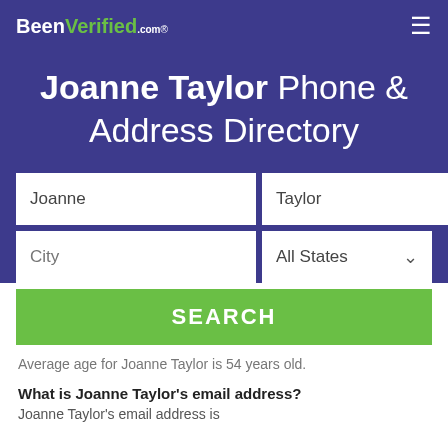BeenVerified.com
Joanne Taylor Phone & Address Directory
[Figure (screenshot): Search form with fields for first name (Joanne), last name (Taylor), City, All States dropdown, and a green SEARCH button]
Average age for Joanne Taylor is 54 years old.
What is Joanne Taylor's email address?
Joanne Taylor's email address is